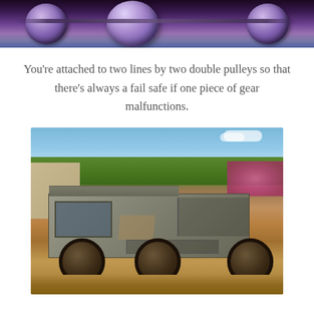[Figure (photo): Close-up photo of double pulleys / carabiners, metallic purple and silver tones, zip-line equipment]
You're attached to two lines by two double pulleys so that there's always a fail safe if one piece of gear malfunctions.
[Figure (photo): Photo of a rugged military-style 6-wheel off-road truck (Pinzgauer-style) with passengers in the open back, parked on a dirt road surrounded by tropical flowers and buildings]